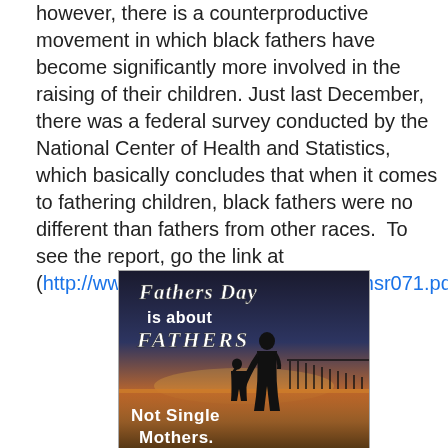however, there is a counterproductive movement in which black fathers have become significantly more involved in the raising of their children. Just last December, there was a federal survey conducted by the National Center of Health and Statistics, which basically concludes that when it comes to fathering children, black fathers were no different than fathers from other races.  To see the report, go the link at (http://www.cdc.gov/nchs/data/nhsr/nhsr071.pdf).
[Figure (photo): A photo/graphic with text overlay reading 'Fathers Day is about FATHERS Not Single Mothers.' showing silhouettes of a father and child on a beach at sunset.]